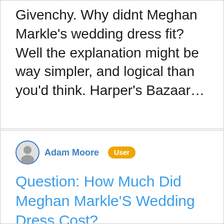Givenchy. Why didnt Meghan Markle's wedding dress fit? Well the explanation might be way simpler, and logical than you'd think. Harper's Bazaar…
Adam Moore  User
Question: How Much Did Meghan Markle'S Wedding Dress Cost?
Why was Meghan Markle's wedding dress so plain? Harper's Bazaar writer Mahalia Chang recently wrote that the fabric chosen by Meghan and Claire was "extremely thick" and that the cut was to "let the bride move and breathe in the dress more comfortably." So there you have it folks.The dress was loose on purpose, so Meghan could be